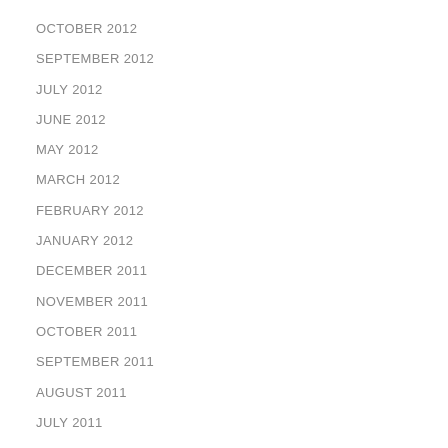OCTOBER 2012
SEPTEMBER 2012
JULY 2012
JUNE 2012
MAY 2012
MARCH 2012
FEBRUARY 2012
JANUARY 2012
DECEMBER 2011
NOVEMBER 2011
OCTOBER 2011
SEPTEMBER 2011
AUGUST 2011
JULY 2011
JUNE 2011
MAY 2011